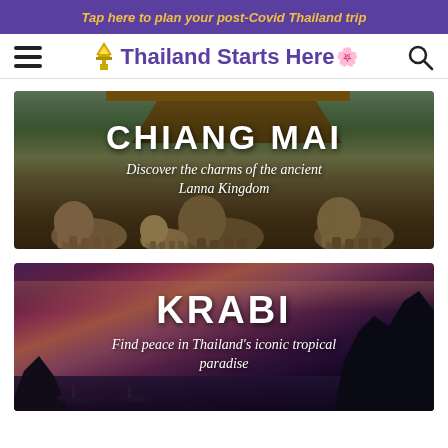Tap here to plan your post-Covid Thailand trip
Thailand Starts Here
[Figure (photo): Chiang Mai destination card with elephants under a thatched shelter, green jungle hills in background, white text overlay reading CHIANG MAI and Discover the charms of the ancient Lanna Kingdom]
[Figure (photo): Krabi destination card with dramatic pink and purple sunset over tropical sea, limestone cliffs silhouette on right, boats on water, white text overlay reading KRABI and Find peace in Thailand's iconic tropical paradise]